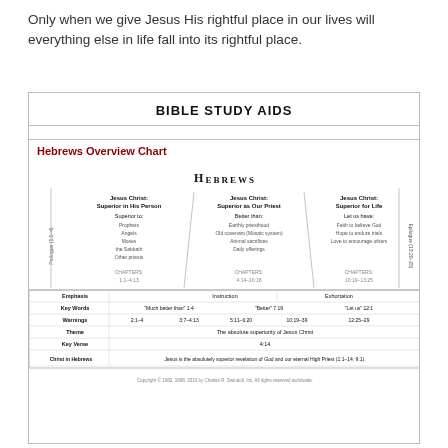Only when we give Jesus His rightful place in our lives will everything else in life fall into its rightful place.
BIBLE STUDY AIDS
Hebrews Overview Chart
[Figure (table-as-image): Hebrews Overview Chart showing Jesus Christ Superior in His Person, Superior as Our Priest, and Superior for Life, with chapters, emphasis, key words, warnings, theme, key verse, and Christ in Hebrews rows.]
Copyright © 1982, 1998, 2010 by Charles R. Swindoll, Inc. All rights reserved worldwide.